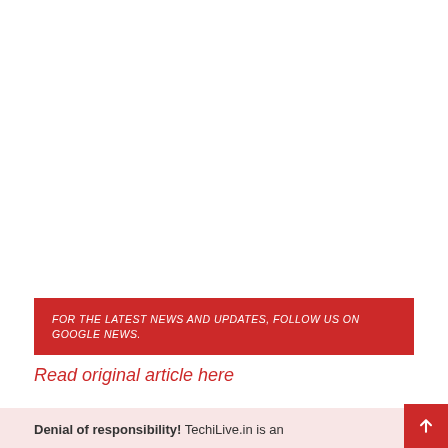FOR THE LATEST NEWS AND UPDATES, FOLLOW US ON GOOGLE NEWS.
Read original article here
Denial of responsibility! TechiLive.in is an